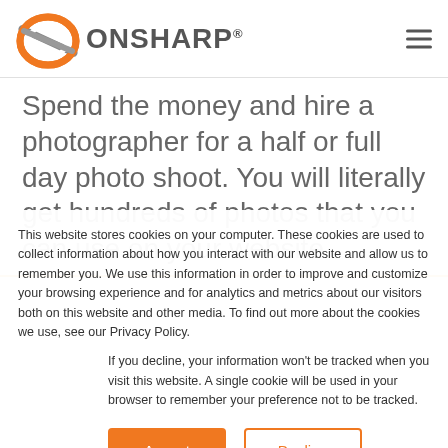[Figure (logo): Onsharp logo with orange and gray circular swoosh icon and bold gray ONSHARP text with registered trademark symbol]
Spend the money and hire a photographer for a half or full day photo shoot. You will literally get hundreds of photos that you can use on your website.
This website stores cookies on your computer. These cookies are used to collect information about how you interact with our website and allow us to remember you. We use this information in order to improve and customize your browsing experience and for analytics and metrics about our visitors both on this website and other media. To find out more about the cookies we use, see our Privacy Policy.
If you decline, your information won't be tracked when you visit this website. A single cookie will be used in your browser to remember your preference not to be tracked.